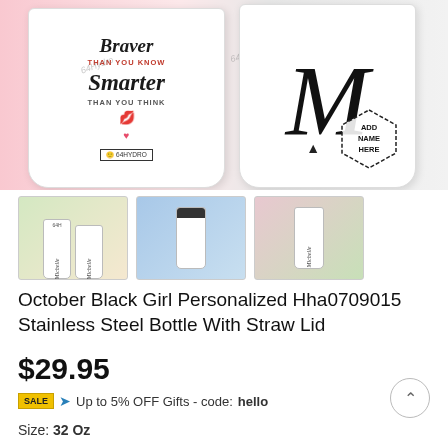[Figure (photo): Main product image showing two personalized white stainless steel bottles/mugs with text 'Braver than you know, Smarter than you think' with a woman's photo, pink heart background, and an 'ADD NAME HERE' badge on the right mug with a large script initial letter]
[Figure (photo): Thumbnail 1: Two white water bottles labeled 'Michelle' with product art, tropical background]
[Figure (photo): Thumbnail 2: Single white water bottle at the beach/ocean background]
[Figure (photo): Thumbnail 3: White water bottle labeled 'Michelle' held by person in flower garden]
October Black Girl Personalized Hha0709015 Stainless Steel Bottle With Straw Lid
$29.95
Up to 5% OFF Gifts - code: hello
Size: 32 Oz